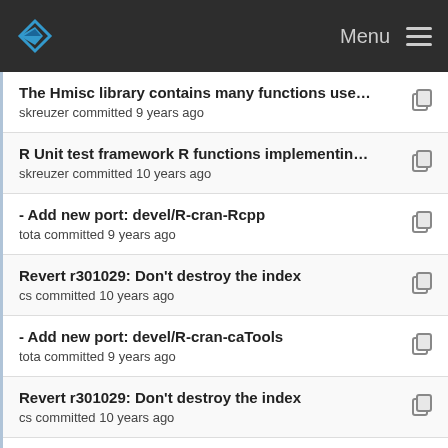Menu
The Hmisc library contains many functions useful ...
skreuzer committed 9 years ago
R Unit test framework R functions implementing a ...
skreuzer committed 10 years ago
- Add new port: devel/R-cran-Rcpp
tota committed 9 years ago
Revert r301029: Don't destroy the index
cs committed 10 years ago
- Add new port: devel/R-cran-caTools
tota committed 9 years ago
Revert r301029: Don't destroy the index
cs committed 10 years ago
R package to create chronological objects which r...
skreuzer committed 10 years ago
Revert r301029: Don't destroy the index